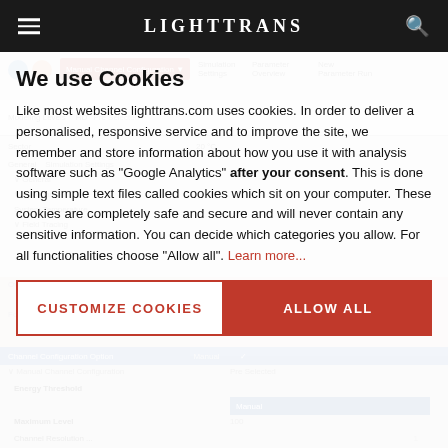LightTrans
[Figure (screenshot): Screenshot of LightTrans software UI with manual channel configuration, simulation settings, parameter overview panels visible in the background]
We use Cookies
Like most websites lighttrans.com uses cookies. In order to deliver a personalised, responsive service and to improve the site, we remember and store information about how you use it with analysis software such as "Google Analytics" after your consent. This is done using simple text files called cookies which sit on your computer. These cookies are completely safe and secure and will never contain any sensitive information. You can decide which categories you allow. For all functionalities choose "Allow all". Learn more...
CUSTOMIZE COOKIES
ALLOW ALL